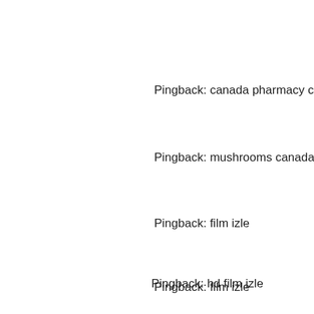Pingback: canada pharmacy canada
Pingback: mushrooms canada legal
Pingback: film izle
Pingback: film izle
Pingback: hd film izle